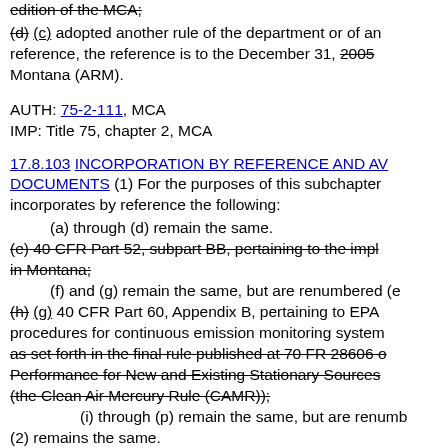edition of the MCA;
(d) (c) adopted another rule of the department or of an agency by reference, the reference is to the December 31, 2005 [year] edition of the Administrative Rules of Montana (ARM).
AUTH: 75-2-111, MCA
IMP: Title 75, chapter 2, MCA
17.8.103 INCORPORATION BY REFERENCE AND AVAILABILITY OF DOCUMENTS
(1) For the purposes of this subchapter, the department incorporates by reference the following:
(a) through (d) remain the same.
(e) 40 CFR Part 52, subpart BB, pertaining to the implementation plan in Montana;
(f) and (g) remain the same, but are renumbered (e) and (f).
(h) (g) 40 CFR Part 60, Appendix B, pertaining to EPA performance specifications and procedures for continuous emission monitoring systems; as set forth in the final rule published at 70 FR 28606 on Standards of Performance for New and Existing Stationary Sources: Electric Utility Steam Generating Units (the Clean Air Mercury Rule (CAMR));
(i) through (p) remain the same, but are renumbered
(2) remains the same.
(3) Copies of federal materials also may be obtained from
(a) through (c) remain the same.
(d) the EPA regional office libraries of each of the to